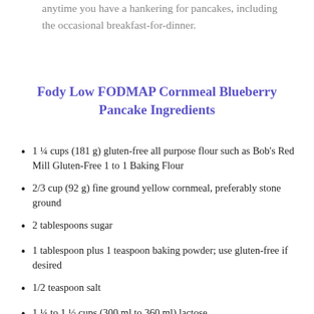anytime you have a hankering for pancakes, including the occasional breakfast-for-dinner.
Fody Low FODMAP Cornmeal Blueberry Pancake Ingredients
1 ¼ cups (181 g) gluten-free all purpose flour such as Bob's Red Mill Gluten-Free 1 to 1 Baking Flour
2/3 cup (92 g) fine ground yellow cornmeal, preferably stone ground
2 tablespoons sugar
1 tablespoon plus 1 teaspoon baking powder; use gluten-free if desired
1/2 teaspoon salt
1 ¼ to 1 ½ cups (300 ml to 360 ml) lactose